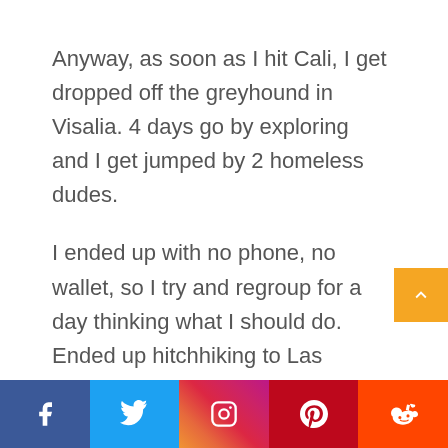Anyway, as soon as I hit Cali, I get dropped off the greyhound in Visalia. 4 days go by exploring and I get jumped by 2 homeless dudes.
I ended up with no phone, no wallet, so I try and regroup for a day thinking what I should do. Ended up hitchhiking to Las Vegas where I met a couple who won at a casino and paid for me to get home on a train. Can't remember their name but I'm so grateful for them!!!
[Figure (infographic): Social media share bar at the bottom with Facebook (blue), Twitter (light blue), Instagram (gradient), Pinterest (red), Reddit (orange-red) icons]